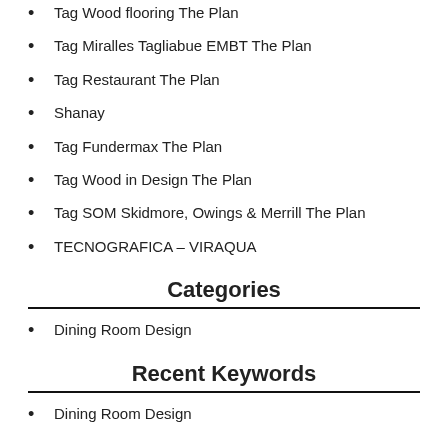Tag Wood flooring The Plan
Tag Miralles Tagliabue EMBT The Plan
Tag Restaurant The Plan
Shanay
Tag Fundermax The Plan
Tag Wood in Design The Plan
Tag SOM Skidmore, Owings & Merrill The Plan
TECNOGRAFICA – VIRAQUA
Categories
Dining Room Design
Recent Keywords
Dining Room Design